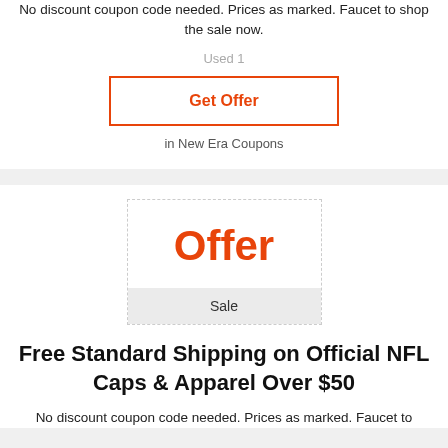No discount coupon code needed. Prices as marked. Faucet to shop the sale now.
Used 1
Get Offer
in New Era Coupons
[Figure (other): Offer badge box with dashed border showing 'Offer' in large red bold text and 'Sale' label in a grey bar at the bottom]
Free Standard Shipping on Official NFL Caps & Apparel Over $50
No discount coupon code needed. Prices as marked. Faucet to